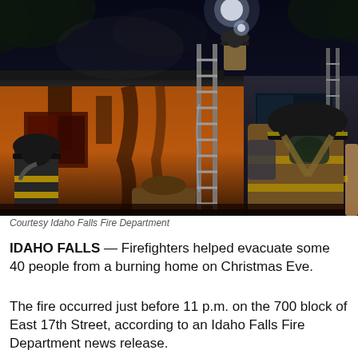[Figure (photo): Night scene showing firefighters at a burning residential home. Two firefighters in black helmets and turnout gear stand near the house wall. A ladder leans against the roofline where another firefighter is visible at the top. The house exterior shows fire damage and burn marks.]
Courtesy Idaho Falls Fire Department
IDAHO FALLS — Firefighters helped evacuate some 40 people from a burning home on Christmas Eve.
The fire occurred just before 11 p.m. on the 700 block of East 17th Street, according to an Idaho Falls Fire Department news release.